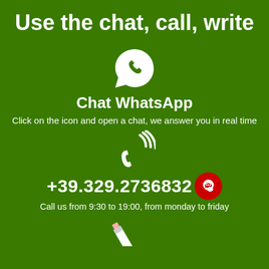Use the chat, call, write
[Figure (illustration): WhatsApp logo icon — white speech bubble with phone handset inside, on green background]
Chat WhatsApp
Click on the icon and open a chat, we answer you in real time
[Figure (illustration): White telephone handset with signal/wifi waves icon, on green background]
+39.329.2736832
Call us from 9:30 to 19:00, from monday to friday
[Figure (illustration): White pencil/edit icon partially visible at bottom of page, on green background]